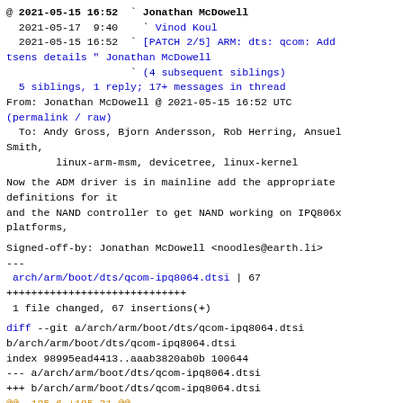@ 2021-05-15 16:52  ` Jonathan McDowell
  2021-05-17  9:40    ` Vinod Koul
  2021-05-15 16:52  ` [PATCH 2/5] ARM: dts: qcom: Add tsens details " Jonathan McDowell
                    ` (4 subsequent siblings)
  5 siblings, 1 reply; 17+ messages in thread
From: Jonathan McDowell @ 2021-05-15 16:52 UTC
(permalink / raw)
  To: Andy Gross, Bjorn Andersson, Rob Herring, Ansuel Smith,
        linux-arm-msm, devicetree, linux-kernel
Now the ADM driver is in mainline add the appropriate definitions for it
and the NAND controller to get NAND working on IPQ806x platforms,
Signed-off-by: Jonathan McDowell <noodles@earth.li>
---
 arch/arm/boot/dts/qcom-ipq8064.dtsi | 67
+++++++++++++++++++++++++++++
 1 file changed, 67 insertions(+)
diff --git a/arch/arm/boot/dts/qcom-ipq8064.dtsi b/arch/arm/boot/dts/qcom-ipq8064.dtsi
index 98995ead4413..aaab3820ab0b 100644
--- a/arch/arm/boot/dts/qcom-ipq8064.dtsi
+++ b/arch/arm/boot/dts/qcom-ipq8064.dtsi
@@ -185,6 +185,31 @@
                                                   bias-pull-up;